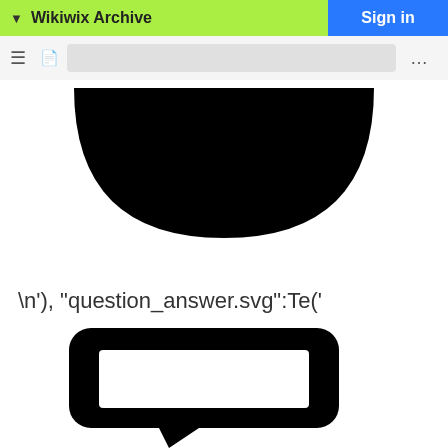Wikiwix Archive
[Figure (illustration): Black bowl/cup shape (top half of a circle/ellipse, filled black)]
\n'), "question_answer.svg":Te('
[Figure (illustration): Black chat bubble / question_answer icon with rounded rectangle and white inner rectangle, with a tail at the bottom center]